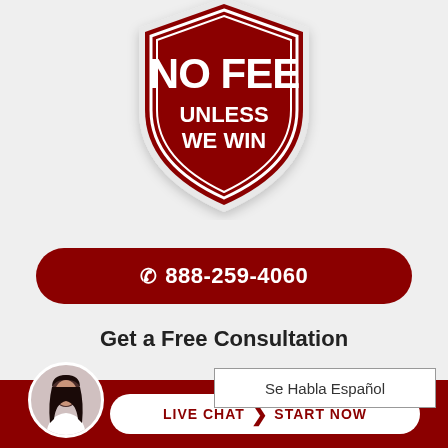[Figure (illustration): Shield badge with dark red color, double border ring, containing text 'NO FEE' in large bold white letters and 'UNLESS WE WIN' in smaller bold white letters beneath]
☎ 888-259-4060
Get a Free Consultation
Se Habla Español
[Figure (photo): Circular avatar of a woman with dark hair]
LIVE CHAT  START NOW